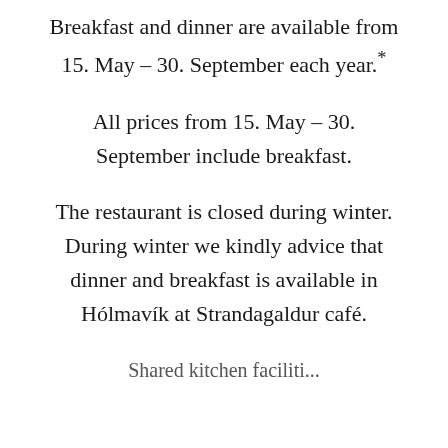Breakfast and dinner are available from 15. May – 30. September each year.*
All prices from 15. May – 30. September include breakfast.
The restaurant is closed during winter. During winter we kindly advice that dinner and breakfast is available in Hólmavík at Strandagaldur café.
Shared kitchen facilities...